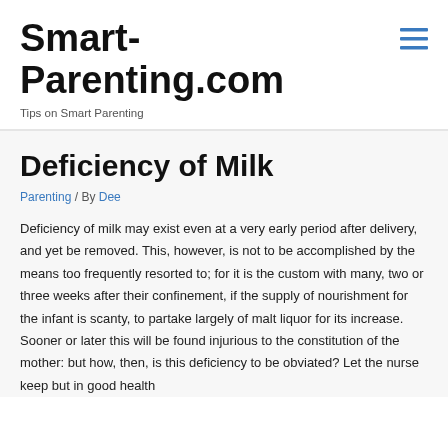Smart-Parenting.com
Tips on Smart Parenting
Deficiency of Milk
Parenting / By Dee
Deficiency of milk may exist even at a very early period after delivery, and yet be removed. This, however, is not to be accomplished by the means too frequently resorted to; for it is the custom with many, two or three weeks after their confinement, if the supply of nourishment for the infant is scanty, to partake largely of malt liquor for its increase. Sooner or later this will be found injurious to the constitution of the mother: but how, then, is this deficiency to be obviated? Let the nurse keep but in good health